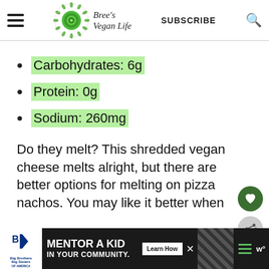Bree's Vegan Life — SUBSCRIBE
Carbohydrates: 6g
Protein: 0g
Sodium: 260mg
Do they melt? This shredded vegan cheese melts alright, but there are better options for melting on pizza nachos. You may like it better when us...
[Figure (infographic): Big Brothers Big Sisters of America advertisement banner: MENTOR A KID IN YOUR COMMUNITY. Learn How button.]